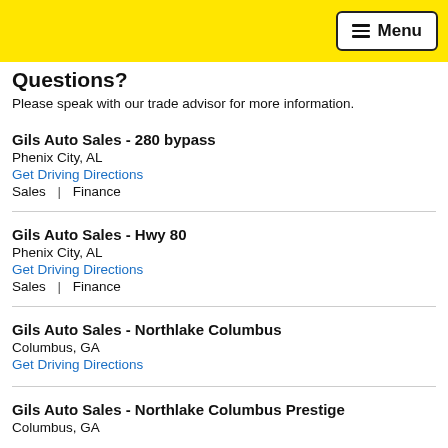Menu
Questions?
Please speak with our trade advisor for more information.
Gils Auto Sales - 280 bypass
Phenix City, AL
Get Driving Directions
Sales | Finance
Gils Auto Sales - Hwy 80
Phenix City, AL
Get Driving Directions
Sales | Finance
Gils Auto Sales - Northlake Columbus
Columbus, GA
Get Driving Directions
Gils Auto Sales - Northlake Columbus Prestige
Columbus, GA